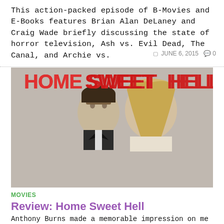This action-packed episode of B-Movies and E-Books features Brian Alan DeLaney and Craig Wade briefly discussing the state of horror television, Ash vs. Evil Dead, The Canal, and Archie vs.
JUNE 6, 2015  0
[Figure (photo): Movie poster for 'Home Sweet Hell' showing the title in large red text with a man and woman in the foreground]
MOVIES
Review: Home Sweet Hell
Anthony Burns made a memorable impression on me with his directorial debut, Skateland, a subdued dramatic film that focused